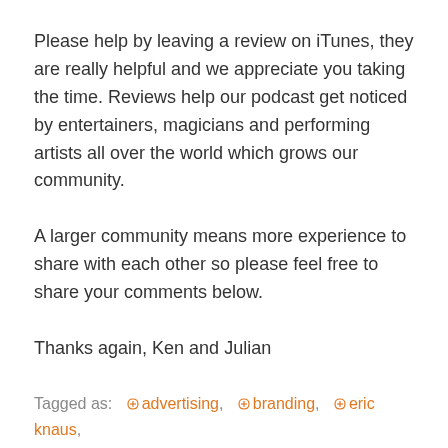Please help by leaving a review on iTunes, they are really helpful and we appreciate you taking the time. Reviews help our podcast get noticed by entertainers, magicians and performing artists all over the world which grows our community.
A larger community means more experience to share with each other so please feel free to share your comments below.
Thanks again, Ken and Julian
Tagged as: advertising, branding, eric knaus, find your market, great zucchini, kidabra,